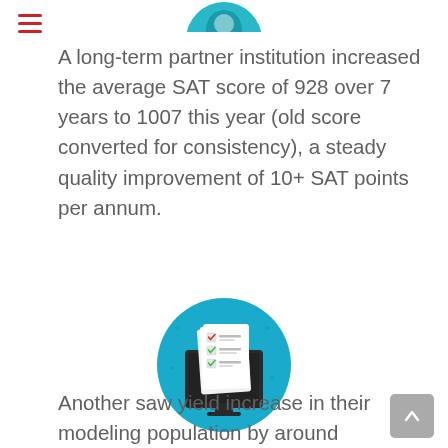[Figure (illustration): Partial teal/cyan circular icon at top center, cropped at top edge]
A long-term partner institution increased the average SAT score of 928 over 7 years to 1007 this year (old score converted for consistency), a steady quality improvement of 10+ SAT points per annum.
[Figure (illustration): Blue circle icon containing a checklist/survey document on a monitor screen]
Another saw yield increase in their modeling population by around 3-5% points, while the next step h...